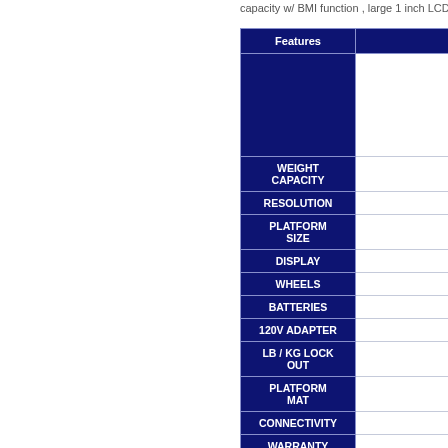capacity w/ BMI function , large 1 inch LCD,
| Features |  |
| --- | --- |
|  |  |
| WEIGHT CAPACITY |  |
| RESOLUTION |  |
| PLATFORM SIZE |  |
| DISPLAY |  |
| WHEELS |  |
| BATTERIES |  |
| 120V ADAPTER |  |
| LB / KG LOCK OUT |  |
| PLATFORM MAT |  |
| CONNECTIVITY |  |
| WARRANTY |  |